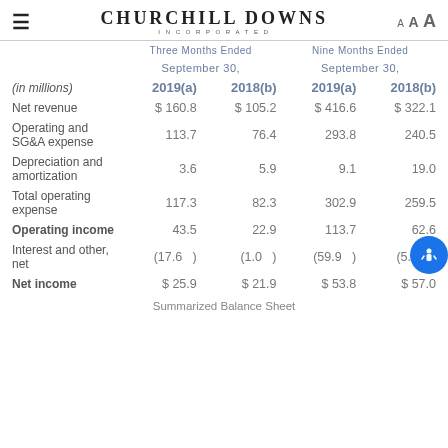Churchill Downs Incorporated
| (in millions) | September 30, 2019(a) | September 30, 2018(b) | September 30, 2019(a) | September 30, 2018(b) |
| --- | --- | --- | --- | --- |
| Net revenue | $ 160.8 | $ 105.2 | $ 416.6 | $ 322.1 |
| Operating and SG&A expense | 113.7 | 76.4 | 293.8 | 240.5 |
| Depreciation and amortization | 3.6 | 5.9 | 9.1 | 19.0 |
| Total operating expense | 117.3 | 82.3 | 302.9 | 259.5 |
| Operating income | 43.5 | 22.9 | 113.7 | 62.6 |
| Interest and other, net | (17.6) | (1.0) | (59.9) | (5.6) |
| Net income | $ 25.9 | $ 21.9 | $ 53.8 | $ 57.0 |
Summarized Balance Sheet